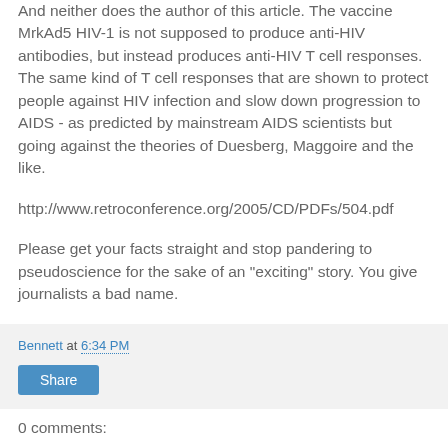And neither does the author of this article. The vaccine MrkAd5 HIV-1 is not supposed to produce anti-HIV antibodies, but instead produces anti-HIV T cell responses. The same kind of T cell responses that are shown to protect people against HIV infection and slow down progression to AIDS - as predicted by mainstream AIDS scientists but going against the theories of Duesberg, Maggoire and the like.
http://www.retroconference.org/2005/CD/PDFs/504.pdf
Please get your facts straight and stop pandering to pseudoscience for the sake of an "exciting" story. You give journalists a bad name.
Bennett at 6:34 PM
Share
0 comments: